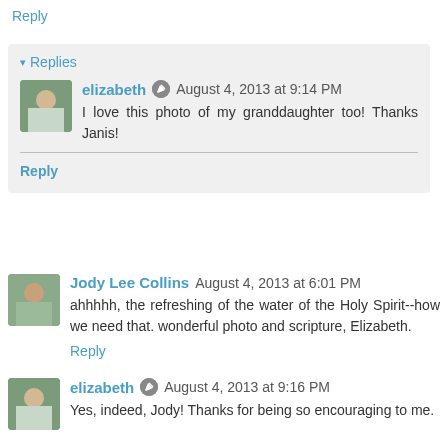Reply
▾ Replies
elizabeth  August 4, 2013 at 9:14 PM
I love this photo of my granddaughter too! Thanks Janis!
Reply
Jody Lee Collins  August 4, 2013 at 6:01 PM
ahhhhh, the refreshing of the water of the Holy Spirit--how we need that. wonderful photo and scripture, Elizabeth.
Reply
elizabeth  August 4, 2013 at 9:16 PM
Yes, indeed, Jody! Thanks for being so encouraging to me.